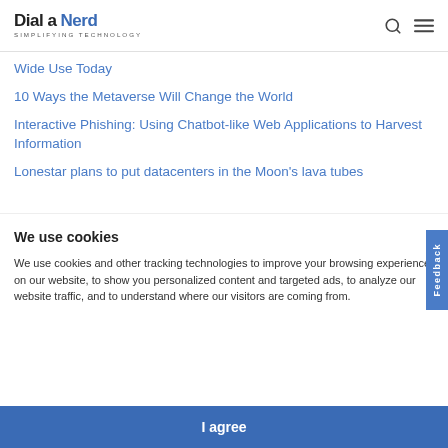Dial a Nerd — SIMPLIFYING TECHNOLOGY
Wide Use Today
10 Ways the Metaverse Will Change the World
Interactive Phishing: Using Chatbot-like Web Applications to Harvest Information
Lonestar plans to put datacenters in the Moon's lava tubes
We use cookies
We use cookies and other tracking technologies to improve your browsing experience on our website, to show you personalized content and targeted ads, to analyze our website traffic, and to understand where our visitors are coming from.
I agree